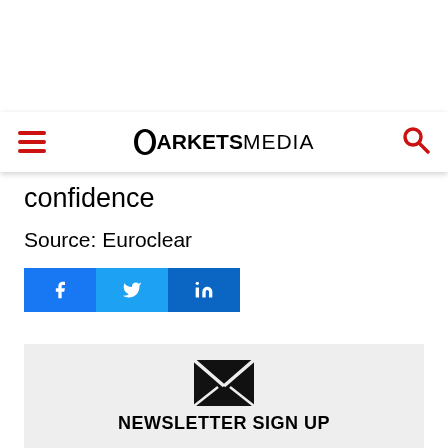MARKETS MEDIA — navigation bar with hamburger menu and search icon
confidence
Source: Euroclear
[Figure (other): Social share buttons: Facebook, Twitter, LinkedIn]
[Figure (other): Newsletter sign up section with envelope icon]
NEWSLETTER SIGN UP